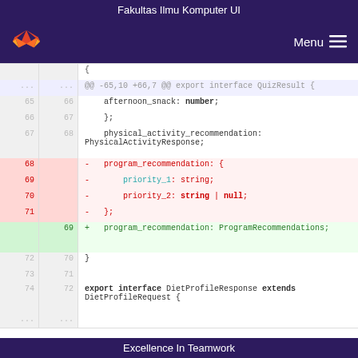Fakultas Ilmu Komputer UI
[Figure (screenshot): GitLab logo and navigation bar with Menu button on dark purple background]
Code diff showing TypeScript interface changes: lines 65-74 old and 66-72 new, with removed lines for program_recommendation block with priority_1 and priority_2 fields, and added line for program_recommendation: ProgramRecommendations;
Excellence In Teamwork